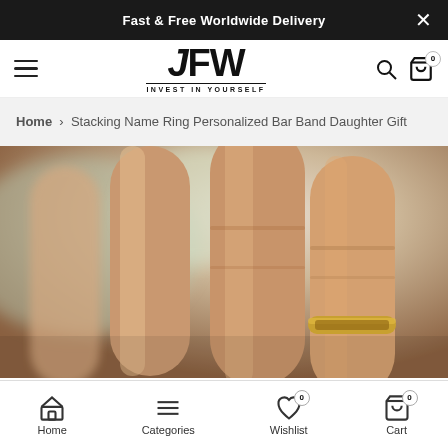Fast & Free Worldwide Delivery
[Figure (screenshot): JFW logo with 'INVEST IN YOURSELF' tagline, hamburger menu icon, search icon, and cart icon with 0 badge]
Home > Stacking Name Ring Personalized Bar Band Daughter Gift
[Figure (photo): Close-up photo of fingers wearing a stacking name ring with personalized bar band]
Home | Categories | Wishlist 0 | Cart 0